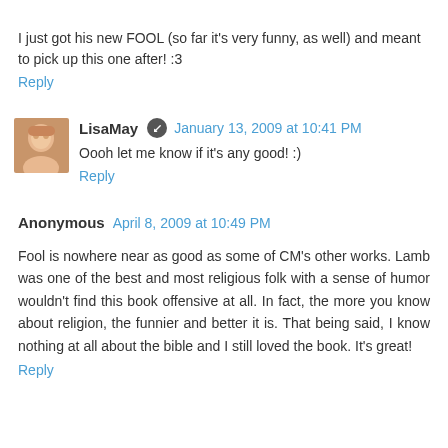I just got his new FOOL (so far it's very funny, as well) and meant to pick up this one after! :3
Reply
LisaMay  January 13, 2009 at 10:41 PM
Oooh let me know if it's any good! :)
Reply
Anonymous  April 8, 2009 at 10:49 PM
Fool is nowhere near as good as some of CM's other works. Lamb was one of the best and most religious folk with a sense of humor wouldn't find this book offensive at all. In fact, the more you know about religion, the funnier and better it is. That being said, I know nothing at all about the bible and I still loved the book. It's great!
Reply